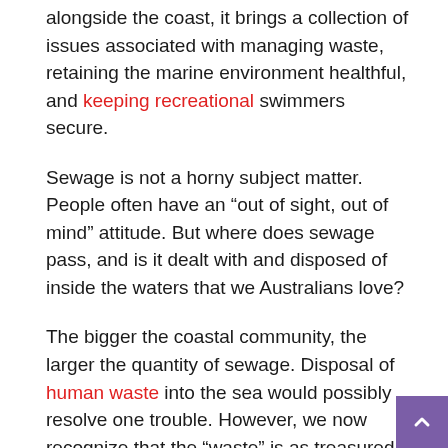alongside the coast, it brings a collection of issues associated with managing waste, retaining the marine environment healthful, and keeping recreational swimmers secure.
Sewage is not a horny subject matter. People often have an “out of sight, out of mind” attitude. But where does sewage pass, and is it dealt with and disposed of inside the waters that we Australians love?
The bigger the coastal community, the larger the quantity of sewage. Disposal of human waste into the sea would possibly resolve one trouble. However, we now recognize that the “waste” is as treasured as the sea it pollutes. Such problems play out continuously alongside our coastline. Each isolated network and catchment issue arises and is resolved, often lacking expertise and isolation from comparable problems somewhere else.